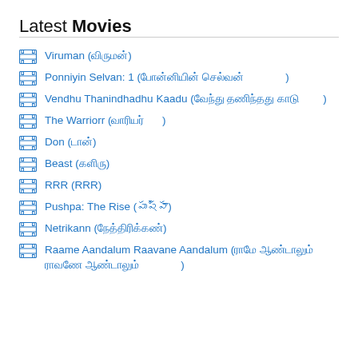Latest Movies
Viruman (விருமன்)
Ponniyin Selvan: 1 (பொன்னியின் செல்வன்)
Vendhu Thanindhadhu Kaadu (வேந்து தணிந்தது காடு)
The Warriorr (வாரியர்)
Don (டான்)
Beast (விலங்கு)
RRR (RRR)
Pushpa: The Rise (పుష్పా)
Netrikann (நேத்திரிக்கண்)
Raame Aandalum Raavane Aandalum (ராமே ஆண்டாலும் ராவணே ஆண்டாலும்)